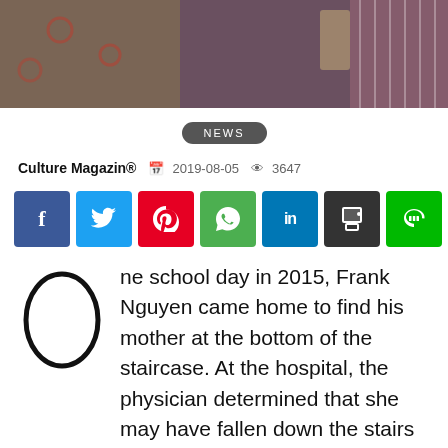[Figure (photo): Top portion of a photo showing people in patterned clothing]
NEWS
Culture Magazin®  2019-08-05  3647
[Figure (infographic): Social share buttons: Facebook, Twitter, Pinterest, WhatsApp, LinkedIn, Print, LINE, More]
ne school day in 2015, Frank Nguyen came home to find his mother at the bottom of the staircase. At the hospital, the physician determined that she may have fallen down the stairs after suffering from cardiac arrest, however there wasn't data of the event for them to properly treat his mother. His mother has various health issues like partial blindness, trouble hearing, being prone to dizziness, and